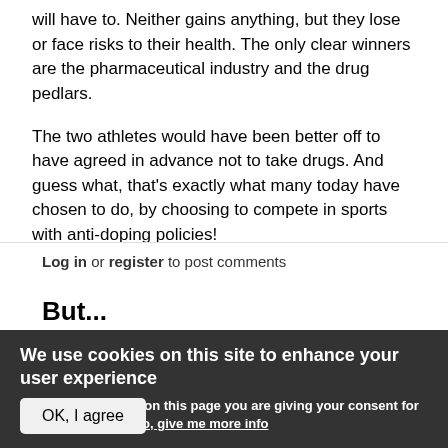will have to. Neither gains anything, but they lose or face risks to their health. The only clear winners are the pharmaceutical industry and the drug pedlars.
The two athletes would have been better off to have agreed in advance not to take drugs. And guess what, that's exactly what many today have chosen to do, by choosing to compete in sports with anti-doping policies!
Log in or register to post comments
But...
We use cookies on this site to enhance your user experience
By clicking any link on this page you are giving your consent for us to set cookies. No, give me more info
OK, I agree